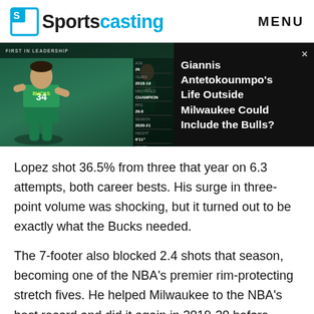Sportscasting  MENU
[Figure (screenshot): Sportscasting article ad banner showing Giannis Antetokounmpo in Milwaukee Bucks jersey #34, with overlay text: 'Giannis Antetokounmpo's Life Outside Milwaukee Could Include the Bulls?']
Lopez shot 36.5% from three that year on 6.3 attempts, both career bests. His surge in three-point volume was shocking, but it turned out to be exactly what the Bucks needed.
The 7-footer also blocked 2.4 shots that season, becoming one of the NBA's premier rim-protecting stretch fives. He helped Milwaukee to the NBA's best record and did it again in 2019-20 before